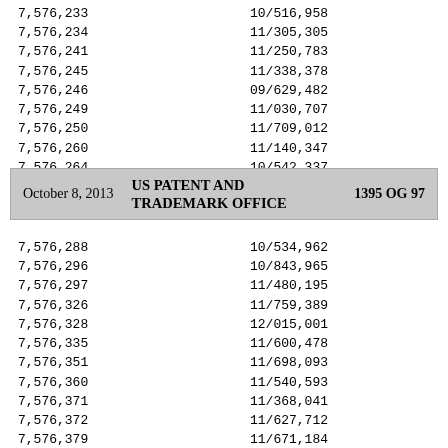| Patent Number | Application Number |
| --- | --- |
| 7,576,233 | 10/516,958 |
| 7,576,234 | 11/305,305 |
| 7,576,241 | 11/250,783 |
| 7,576,245 | 11/338,378 |
| 7,576,246 | 09/629,482 |
| 7,576,249 | 11/030,707 |
| 7,576,250 | 11/709,012 |
| 7,576,260 | 11/140,347 |
| 7,576,264 | 10/542,337 |
| 7,576,276 | 12/218,199 |
October 8, 2013   US PATENT AND TRADEMARK OFFICE   1395 OG 97
| Patent Number | Application Number |
| --- | --- |
| 7,576,288 | 10/534,962 |
| 7,576,296 | 10/843,965 |
| 7,576,297 | 11/480,195 |
| 7,576,326 | 11/759,389 |
| 7,576,328 | 12/015,001 |
| 7,576,335 | 11/600,478 |
| 7,576,351 | 11/698,093 |
| 7,576,360 | 11/540,593 |
| 7,576,371 | 11/368,041 |
| 7,576,372 | 11/627,712 |
| 7,576,379 | 11/671,184 |
| 7,576,380 | 11/502,090 |
| 7,576,403 | 11/892,436 |
| 7,576,411 | 11/553,344 |
| 7,576,418 | 12/167,622 |